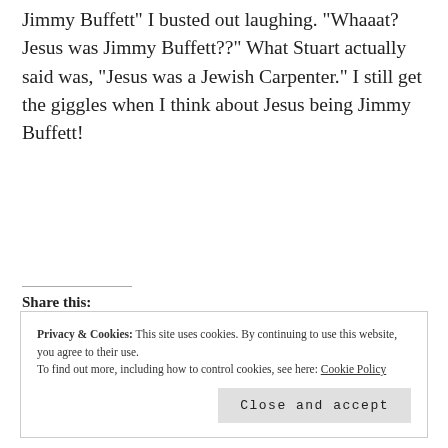Jimmy Buffett" I busted out laughing. "Whaaat? Jesus was Jimmy Buffett??" What Stuart actually said was, "Jesus was a Jewish Carpenter." I still get the giggles when I think about Jesus being Jimmy Buffett!
Share this:
Share
Loading...
Privacy & Cookies: This site uses cookies. By continuing to use this website, you agree to their use. To find out more, including how to control cookies, see here: Cookie Policy
Close and accept